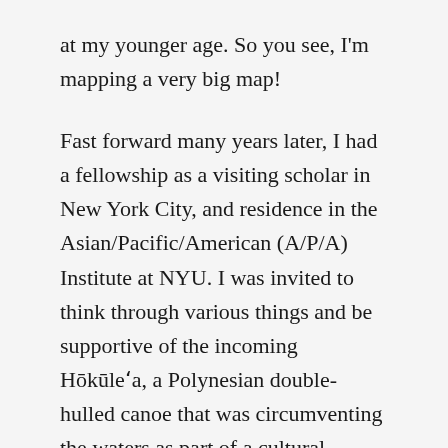at my younger age. So you see, I'm mapping a very big map!
Fast forward many years later, I had a fellowship as a visiting scholar in New York City, and residence in the Asian/Pacific/American (A/P/A) Institute at NYU. I was invited to think through various things and be supportive of the incoming Hōkūleʻa, a Polynesian double-hulled canoe that was circumventing the waters as part of a cultural revitalisation around the world to spread the message of mālama honua, meaning to care for Mother Earth from an indigenous environmental stewardship perspective. In 2016, the Hōkūleʻa was arriving in NYC and